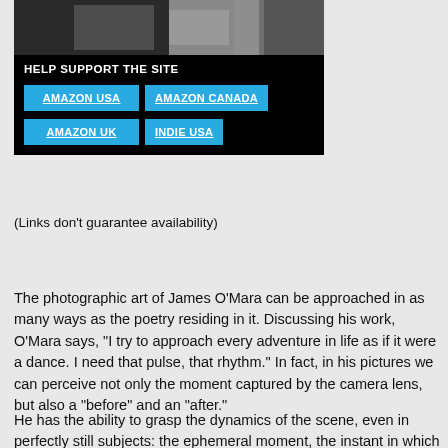[Figure (photo): Black and white photo strip showing hands or figure detail]
HELP SUPPORT THE SITE
AMAZON USA
AMAZON CANADA
AMAZON UK
INDIE USA
(Links don't guarantee availability)
The photographic art of James O'Mara can be approached in as many ways as the poetry residing in it. Discussing his work, O'Mara says, "I try to approach every adventure in life as if it were a dance. I need that pulse, that rhythm." In fact, in his pictures we can perceive not only the moment captured by the camera lens, but also a "before" and an "after."
He has the ability to grasp the dynamics of the scene, even in perfectly still subjects: the ephemeral moment, the instant in which a figure reveals his or her nature or events show new meanings. The